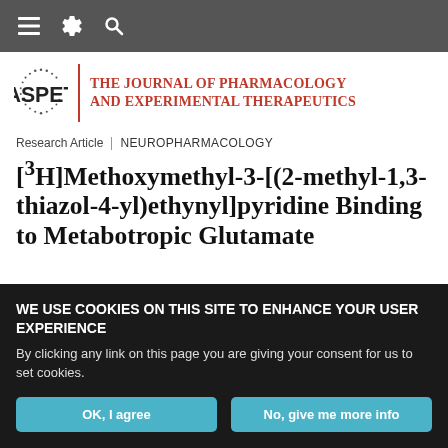Navigation bar with menu, settings, and search icons
[Figure (logo): ASPET logo with circular dot pattern and text 'ASPET' next to 'The Journal of Pharmacology and Experimental Therapeutics' in red serif font]
Research Article | NEUROPHARMACOLOGY
[3H]Methoxymethyl-3-[(2-methyl-1,3-thiazol-4-yl)ethynyl]pyridine Binding to Metabotropic Glutamate
WE USE COOKIES ON THIS SITE TO ENHANCE YOUR USER EXPERIENCE

By clicking any link on this page you are giving your consent for us to set cookies.

[OK, I agree] [No, give me more info]